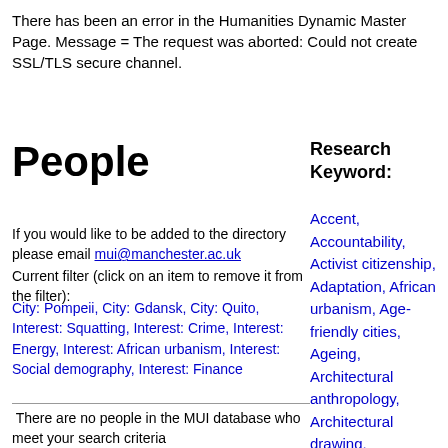There has been an error in the Humanities Dynamic Master Page. Message = The request was aborted: Could not create SSL/TLS secure channel.
People
Research Keyword:
If you would like to be added to the directory please email mui@manchester.ac.uk
Current filter (click on an item to remove it from the filter):
City: Pompeii, City: Gdansk, City: Quito, Interest: Squatting, Interest: Crime, Interest: Energy, Interest: African urbanism, Interest: Social demography, Interest: Finance
There are no people in the MUI database who meet your search criteria
Accent, Accountability, Activist citizenship, Adaptation, African urbanism, Age-friendly cities, Ageing, Architectural anthropology, Architectural drawing, Architectural ethnography, Architecture, Art, Aspiration, Atmosphere, Austerity,